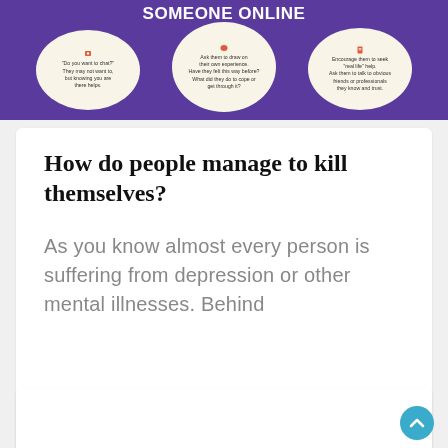[Figure (infographic): Purple background infographic about supporting someone online, with three speech bubble shapes containing advice text and small icons.]
How do people manage to kill themselves?
As you know almost every person is suffering from depression or other mental illnesses. Behind